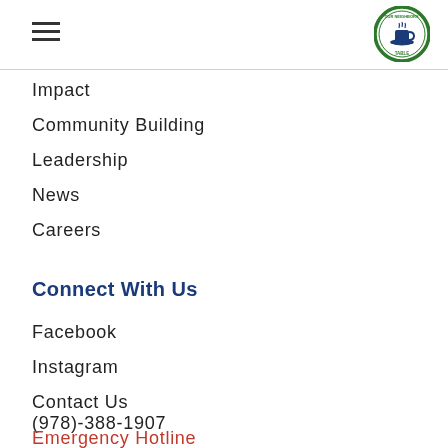[Figure (logo): Our Neighbors' Table circular logo with green border and blue teacup illustration]
Impact
Community Building
Leadership
News
Careers
Connect With Us
Facebook
Instagram
Contact Us
(978)-388-1907
Emergency Hotline